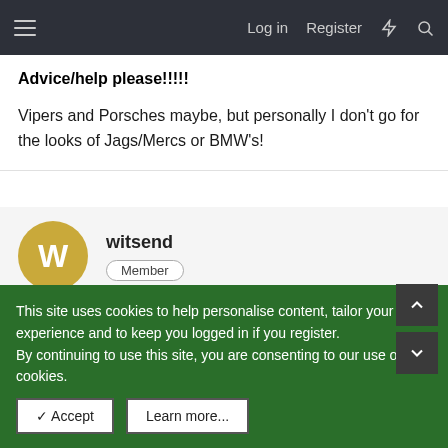Log in  Register
Advice/help please!!!!!
Vipers and Porsches maybe, but personally I don't go for the looks of Jags/Mercs or BMW's!
witsend
Member
Jan 7, 2005   #19
Advice/help please!!!!!
This site uses cookies to help personalise content, tailor your experience and to keep you logged in if you register.
By continuing to use this site, you are consenting to our use of cookies.